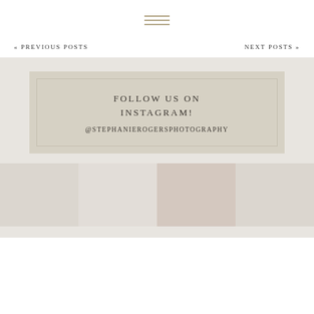[Figure (other): Hamburger menu icon with three horizontal lines in tan/gold color]
« PREVIOUS POSTS   NEXT POSTS »
FOLLOW US ON INSTAGRAM!
@STEPHANIEROGERSPHOTOGRAPHY
[Figure (photo): Four Instagram photo thumbnails shown in a horizontal grid strip at the bottom - faded photography images]